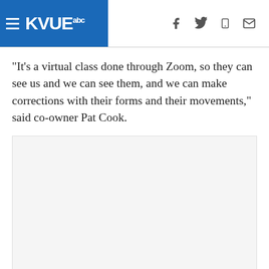KVUE abc
“It’s a virtual class done through Zoom, so they can see us and we can see them, and we can make corrections with their forms and their movements,” said co-owner Pat Cook.
[Figure (photo): Embedded video or image placeholder (white/light gray rectangle)]